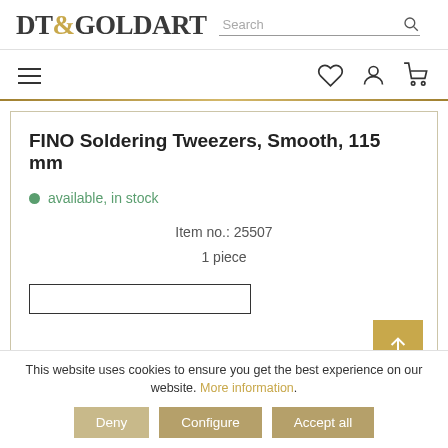[Figure (logo): DT&GOLDART logo with ampersand in gold color]
[Figure (screenshot): Search bar with search icon]
[Figure (screenshot): Navigation bar with hamburger menu and icons for wishlist, account, and cart]
FINO Soldering Tweezers, Smooth, 115 mm
available, in stock
Item no.: 25507
1 piece
This website uses cookies to ensure you get the best experience on our website. More information.